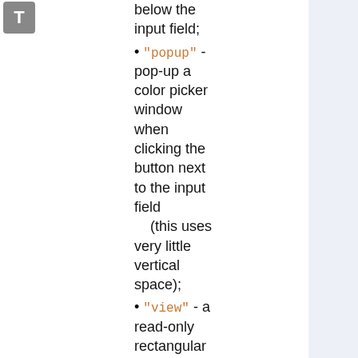[Figure (other): T icon box in top-left corner]
below the input field;
"popup" - pop-up a color picker window when clicking the button next to the input field (this uses very little vertical space);
"view" - a read-only rectangular block colored in the color value (no